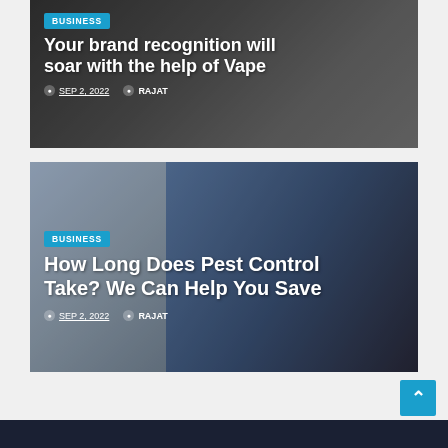[Figure (photo): Article card 1: dark background with vape/spray product image. Badge: BUSINESS. Title: Your brand recognition will soar with the help of Vape. Date: SEP 2, 2022. Author: RAJAT.]
[Figure (photo): Article card 2: pest control worker in blue uniform kneeling with spray tank. Badge: BUSINESS. Title: How Long Does Pest Control Take? We Can Help You Save. Date: SEP 2, 2022. Author: RAJAT.]